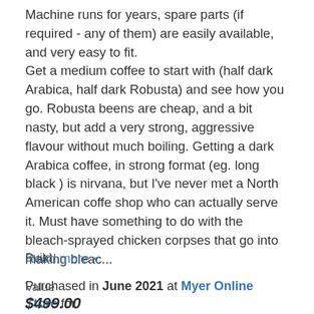Machine runs for years, spare parts (if required - any of them) are easily available, and very easy to fit. Get a medium coffee to start with (half dark Arabica, half dark Robusta) and see how you go. Robusta beens are cheap, and a bit nasty, but add a very strong, aggressive flavour without much boiling. Getting a dark Arabica coffee, in strong format (eg. long black ) is nirvana, but I've never met a North American coffe shop who can actually serve it. Must have something to do with the bleach-sprayed chicken corpses that go into making bleac...
Read more ▾
Purchased in June 2021 at Myer Online Store for $499.00
Build
Value
[Figure (screenshot): A Brainberries notification popup showing '10 Most Praised Historical Movies' with a circular thumbnail of a person, a thumbs up icon, and the count 886. An X close button is visible.]